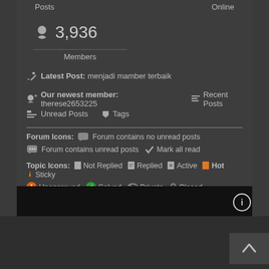Posts | Online
3,936 Members
Latest Post: menjadi mamber terbaik
Our newest member: therese2653225
Recent Posts
Unread Posts  Tags
Forum Icons: Forum contains no unread posts  Forum contains unread posts  Mark all read
Topic Icons: Not Replied  Replied  Active  Hot  Sticky  Unapproved  Solved  Private  Closed